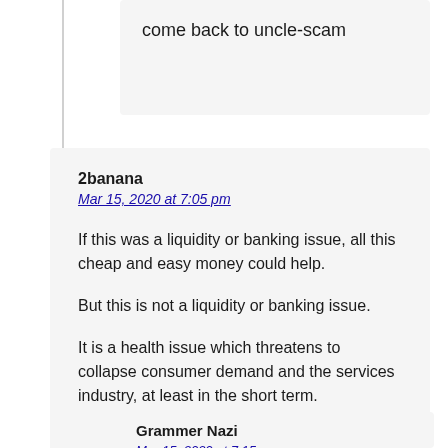come back to uncle-scam
2banana
Mar 15, 2020 at 7:05 pm
If this was a liquidity or banking issue, all this cheap and easy money could help.

But this is not a liquidity or banking issue.

It is a health issue which threatens to collapse consumer demand and the services industry, at least in the short term.
Grammer Nazi
Mar 15, 2020 at 7:15 pm